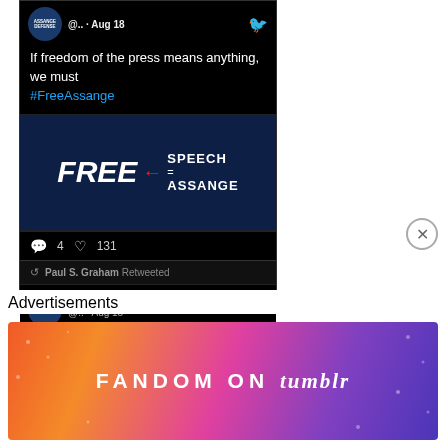[Figure (screenshot): Tweet from Assange Defense account showing text: 'If freedom of the press means anything, we must #FreeAssange' with an image showing FREE SPEECH = ASSANGE with a red arrow, dated Aug 18. Stats show 4 comments, 131 likes.]
@.. · Aug 18
If freedom of the press means anything, we must #FreeAssange
4  131
Paul S. Graham Retweeted
Assange ...
@.. · Aug 18
Advertisements
[Figure (screenshot): Fandom on Tumblr advertisement banner with colorful gradient background]